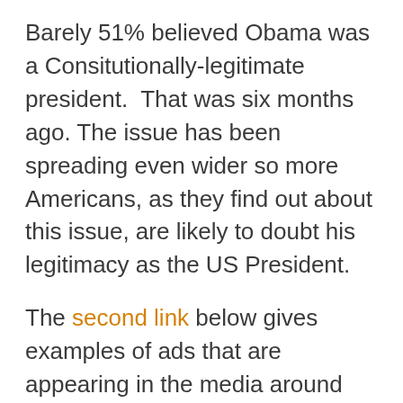Barely 51% believed Obama was a Consitutionally-legitimate president.  That was six months ago. The issue has been spreading even wider so more Americans, as they find out about this issue, are likely to doubt his legitimacy as the US President.
The second link below gives examples of ads that are appearing in the media around the nation that assert Obama is not eligible to be our president. If you look in the upper-right-hand corner of the second link, you will see the full-page ad that appeared in the Washington Times